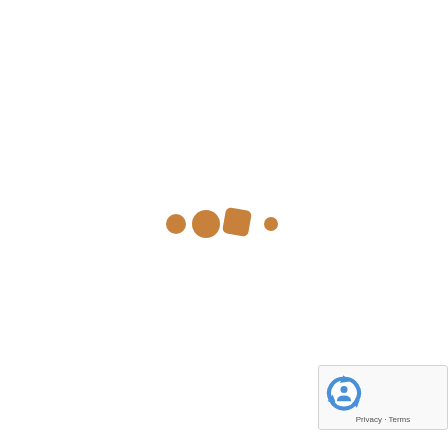[Figure (other): Loading animation with four brownish/tan dots of varying sizes arranged horizontally — a small circle, a medium circle, a rounded square, and a tiny circle]
[Figure (logo): Google reCAPTCHA badge in the bottom-right corner showing the reCAPTCHA logo (blue circular arrows with a person icon) and 'Privacy · Terms' text below]